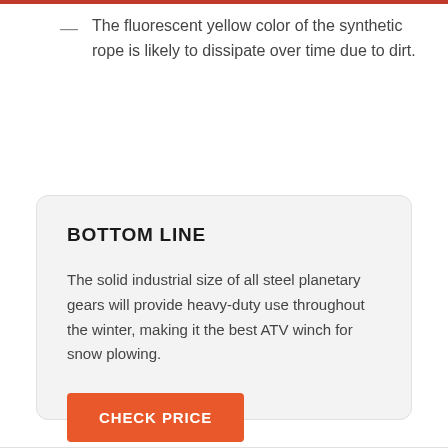The fluorescent yellow color of the synthetic rope is likely to dissipate over time due to dirt.
BOTTOM LINE
The solid industrial size of all steel planetary gears will provide heavy-duty use throughout the winter, making it the best ATV winch for snow plowing.
CHECK PRICE